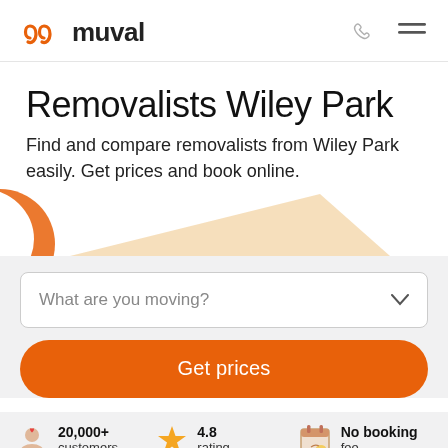muval
Removalists Wiley Park
Find and compare removalists from Wiley Park easily. Get prices and book online.
[Figure (illustration): Decorative peach/tan triangle shape with orange crescent on left side, forming a hero illustration area]
What are you moving?
Get prices
20,000+ customers
4.8 rating
No booking fee